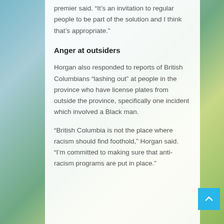premier said. “It’s an invitation to regular people to be part of the solution and I think that’s appropriate.”
Anger at outsiders
Horgan also responded to reports of British Columbians “lashing out” at people in the province who have license plates from outside the province, specifically one incident which involved a Black man.
“British Columbia is not the place where racism should find foothold,” Horgan said. “I’m committed to making sure that anti-racism programs are put in place.”